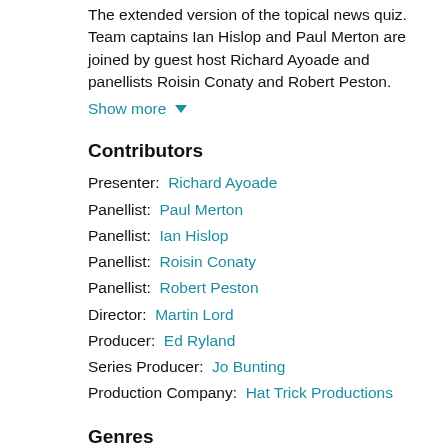The extended version of the topical news quiz. Team captains Ian Hislop and Paul Merton are joined by guest host Richard Ayoade and panellists Roisin Conaty and Robert Peston.
Show more ▾
Contributors
Presenter: Richard Ayoade
Panellist: Paul Merton
Panellist: Ian Hislop
Panellist: Roisin Conaty
Panellist: Robert Peston
Director: Martin Lord
Producer: Ed Ryland
Series Producer: Jo Bunting
Production Company: Hat Trick Productions
Genres
Comedy / Satire
Entertainment